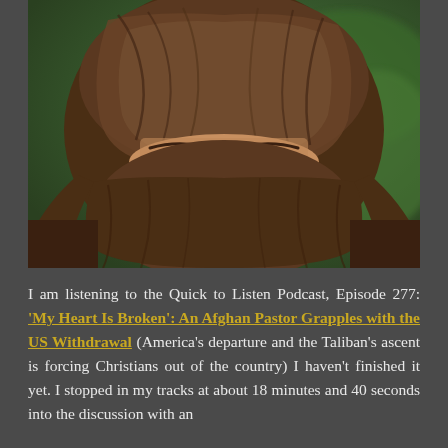[Figure (photo): Close-up photograph of a woman wearing a dark brown hijab/niqab covering her head and lower face, with only her eyes visible. Her eyes are hazel/amber colored. The background is blurred green foliage.]
I am listening to the Quick to Listen Podcast, Episode 277: 'My Heart Is Broken': An Afghan Pastor Grapples with the US Withdrawal (America's departure and the Taliban's ascent is forcing Christians out of the country) I haven't finished it yet. I stopped in my tracks at about 18 minutes and 40 seconds into the discussion with an